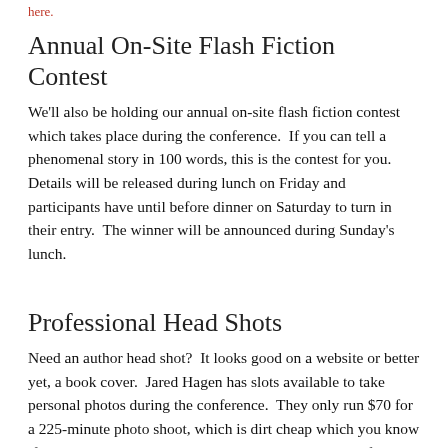here.
Annual On-Site Flash Fiction Contest
We'll also be holding our annual on-site flash fiction contest which takes place during the conference.  If you can tell a phenomenal story in 100 words, this is the contest for you.  Details will be released during lunch on Friday and participants have until before dinner on Saturday to turn in their entry.  The winner will be announced during Sunday's lunch.
Professional Head Shots
Need an author head shot?  It looks good on a website or better yet, a book cover.  Jared Hagen has slots available to take personal photos during the conference.  They only run $70 for a 225-minute photo shoot, which is dirt cheap which you know if you've priced this out already.  You'll receive a CD of professional author photos to which you'll own the